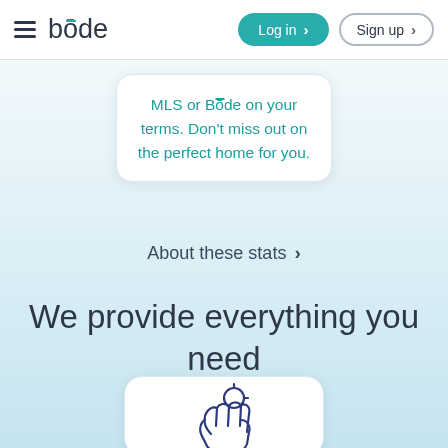bōde — Login · Sign up navigation bar
MLS or Bōde on your terms. Don't miss out on the perfect home for you.
About these stats >
We provide everything you need
[Figure (illustration): Partially visible white card at the bottom with a blue outline hand/click icon, part of 'We provide everything you need' section]